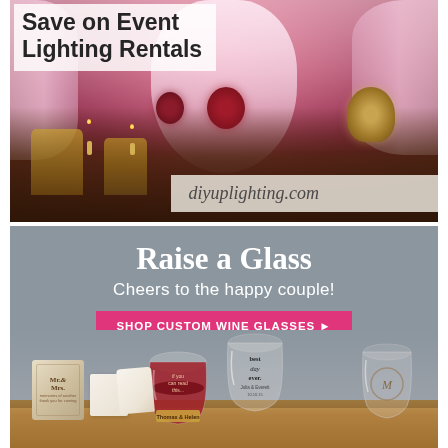[Figure (photo): Wedding reception venue with pink/magenta uplighting, white fabric draping on walls, tables set with flowers, candles, and gold chairs. Text overlay: 'Save on Event Lighting Rentals' and 'diyuplighting.com']
Save on Event Lighting Rentals
diyuplighting.com
[Figure (photo): Advertisement for custom wine glasses showing stemless wine glasses with personalized text, gift boxes labeled Mr. & Mrs., on a wooden board background. Text: 'Raise a Glass', 'Cheers to the happy couple!', 'SHOP CUSTOM WINE GLASSES ▶']
Raise a Glass
Cheers to the happy couple!
SHOP CUSTOM WINE GLASSES ▶